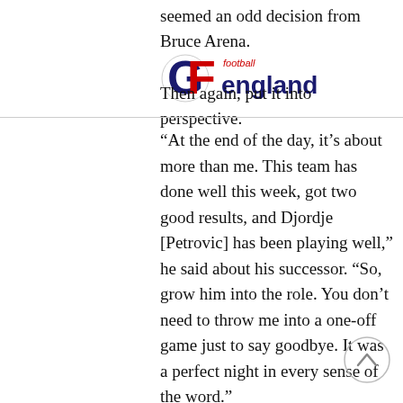seemed an odd decision from Bruce Arena.
[Figure (logo): GF football england logo with circular icon in red and blue]
Then again, put it into perspective.
“At the end of the day, it’s about more than me. This team has done well this week, got two good results, and Djordje [Petrovic] has been playing well,” he said about his successor. “So, grow him into the role. You don’t need to throw me into a one-off game just to say goodbye. It was a perfect night in every sense of the word.”
Now Turner is off to England. Whether or not the Arsenal move will be ideal for him heading into the 2022 World Cup is still unknown. USMNT coach Gregg Berhalter has already mentioned the No. 1, whoever it ends up being, needs to be someone regularly getting playing time, so that might complicate things a bit for Turner as he gets acclimated to the Premier